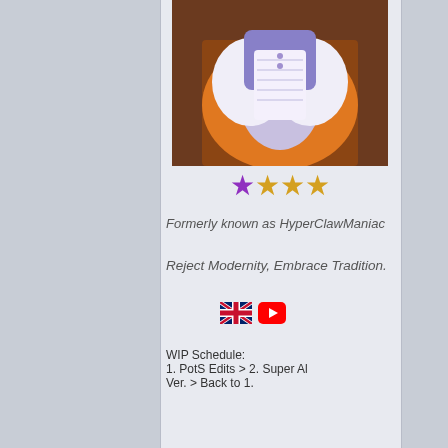[Figure (illustration): Anime character illustration - upper body, white/purple outfit, at top of page]
★☆☆☆ (star rating icons, one purple star and three gold stars)
Formerly known as HyperClawManiac
Reject Modernity, Embrace Tradition.
[Figure (illustration): UK flag emoji and YouTube icon]
WIP Schedule:
1. PotS Edits > 2. Super Al Ver. > Back to 1.
RagingRowen
[Figure (illustration): Document/post icon]
Best of a certain creator:
[Figure (illustration): Anime character illustration - brown-haired female character in purple/white outfit lying down]
Previous Poll results, in post.
Now Karma's next to b
WIP Schedule:
1. PotS Edits > 2. Super Al Ver. > Back to 1.